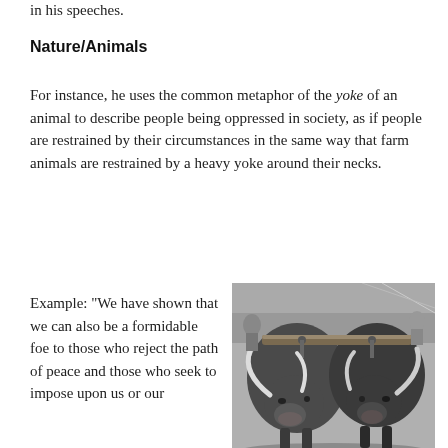in his speeches.
Nature/Animals
For instance, he uses the common metaphor of the yoke of an animal to describe people being oppressed in society, as if people are restrained by their circumstances in the same way that farm animals are restrained by a heavy yoke around their necks.
Example: “We have shown that we can also be a formidable foe to those who reject the path of peace and those who seek to impose upon us or our
[Figure (photo): Black and white photograph of two oxen wearing a yoke, viewed from the front, with long horns visible. The animals are harnessed together with a wooden yoke across their necks.]
Source: Wikipedia